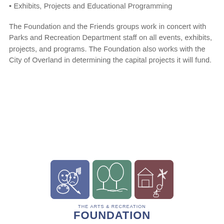Exhibits, Projects and Educational Programming
The Foundation and the Friends groups work in concert with Parks and Recreation Department staff on all events, exhibits, projects, and programs. The Foundation also works with the City of Overland in determining the capital projects it will fund.
[Figure (logo): The Arts & Recreation Foundation of Overland Park logo — three colored squares (blue with arts/theatre icons, green with nature/trees icons, brown with farm/child icons) above the text 'THE ARTS & RECREATION FOUNDATION OF OVERLAND PARK']